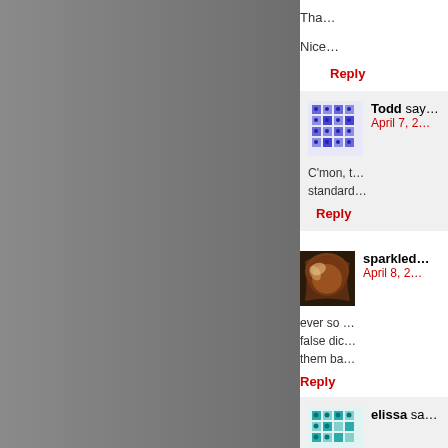[Figure (photo): Large grey/dark grey torn paper or wall texture image occupying the left ~65% of the page]
Tha…
Nice…
Reply
Todd say…
April 7, 2…
C'mon, t…
standard…
Reply
sparkled…
April 8, 2…
ever so …
false dic…
them ba…
Reply
elissa sa…